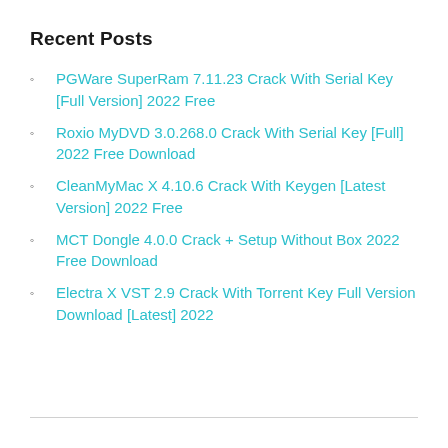Recent Posts
PGWare SuperRam 7.11.23 Crack With Serial Key [Full Version] 2022 Free
Roxio MyDVD 3.0.268.0 Crack With Serial Key [Full] 2022 Free Download
CleanMyMac X 4.10.6 Crack With Keygen [Latest Version] 2022 Free
MCT Dongle 4.0.0 Crack + Setup Without Box 2022 Free Download
Electra X VST 2.9 Crack With Torrent Key Full Version Download [Latest] 2022